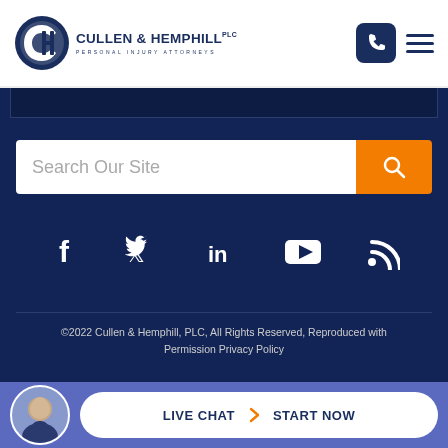[Figure (logo): Cullen & Hemphill PLC personal injury attorneys logo with circular CH monogram]
[Figure (infographic): Search bar with 'Search Our Site' placeholder and orange search button, social media icons (Facebook, Twitter, LinkedIn, YouTube, RSS feed), copyright footer, and live chat bar]
Search Our Site
©2022 Cullen & Hemphill, PLC, All Rights Reserved, Reproduced with Permission Privacy Policy
Website Built by FOSTER WEB MARKETING | Website Powered By
LIVE CHAT START NOW